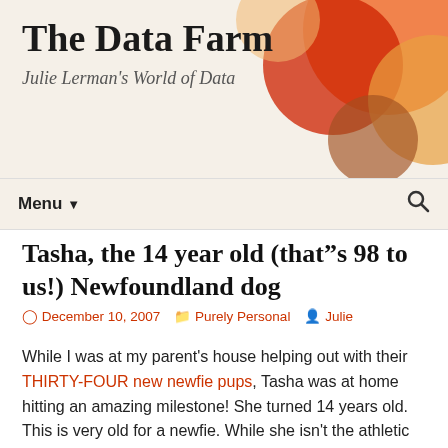The Data Farm — Julie Lerman's World of Data
Tasha, the 14 year old (that"s 98 to us!) Newfoundland dog
December 10, 2007   Purely Personal   Julie
While I was at my parent's house helping out with their THIRTY-FOUR new newfie pups, Tasha was at home hitting an amazing milestone! She turned 14 years old. This is very old for a newfie. While she isn't the athletic young girl she used to be thanks to arthritis, she is still full of it! Ba… every morning to make sure everyone in the neighborhood